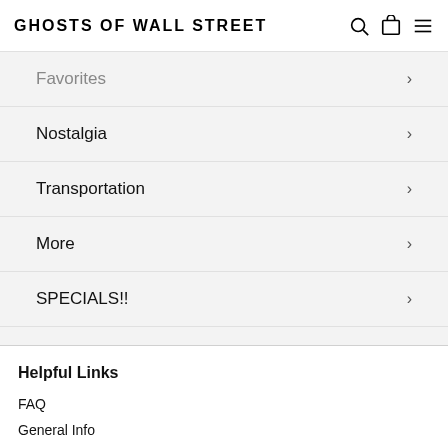GHOSTS OF WALL STREET
Favorites
Nostalgia
Transportation
More
SPECIALS!!
Sort by Date
Helpful Links
FAQ
General Info